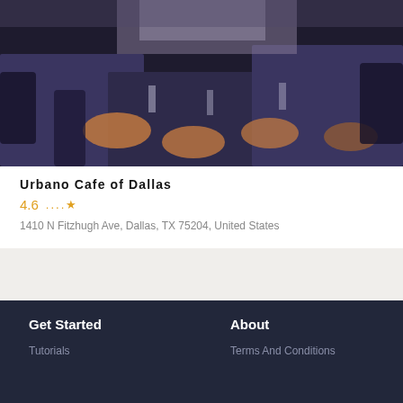[Figure (photo): Dark restaurant interior with tables set with plates, glasses, and blue/dark tablecloths.]
Urbano Cafe of Dallas
4.6  ....
1410 N Fitzhugh Ave, Dallas, TX 75204, United States
Get Started
About
Tutorials
Terms And Conditions